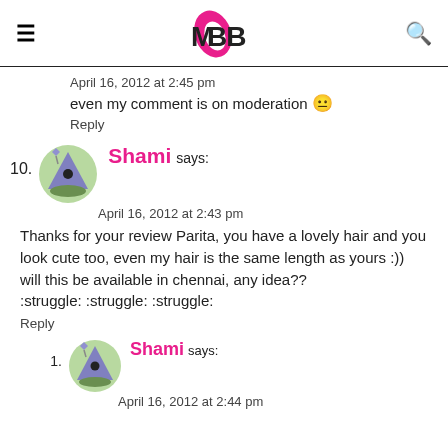IMBB
April 16, 2012 at 2:45 pm
even my comment is on moderation :(
Reply
10. Shami says:
April 16, 2012 at 2:43 pm
Thanks for your review Parita, you have a lovely hair and you look cute too, even my hair is the same length as yours :))
will this be available in chennai, any idea??
:struggle: :struggle: :struggle:
Reply
1. Shami says:
April 16, 2012 at 2:44 pm